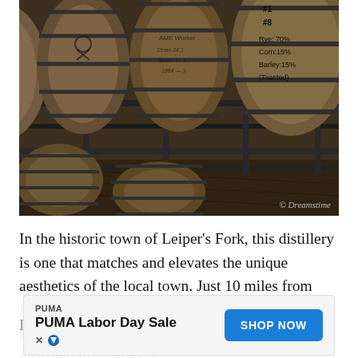[Figure (photo): Rows of wooden whiskey aging barrels on metal racks in a distillery warehouse. One barrel on the right has handwritten chalk markings: '#8', 'Rye: 70%', 'Corn: 15%', 'Barley: 15% (Toasted)'. Watermark '© Dreamstime' in bottom right corner.]
In the historic town of Leiper's Fork, this distillery is one that matches and elevates the unique aesthetics of the local town. Just 10 miles from Franklin, the distillery opened recently in 2016, but immediately tapped into the rich history of distilling in Tennessee.